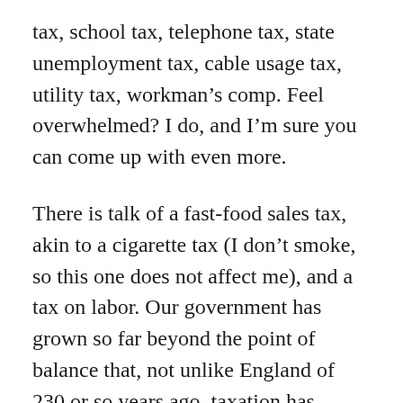tax, school tax, telephone tax, state unemployment tax, cable usage tax, utility tax, workman's comp. Feel overwhelmed? I do, and I'm sure you can come up with even more.
There is talk of a fast-food sales tax, akin to a cigarette tax (I don't smoke, so this one does not affect me), and a tax on labor. Our government has grown so far beyond the point of balance that, not unlike England of 230 or so years ago, taxation has become the only vehicle it can discern to raise the funds it needs to feed its voracious consumption of capital.